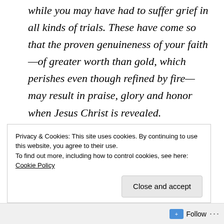while you may have had to suffer grief in all kinds of trials. These have come so that the proven genuineness of your faith—of greater worth than gold, which perishes even though refined by fire—may result in praise, glory and honor when Jesus Christ is revealed.
Privacy & Cookies: This site uses cookies. By continuing to use this website, you agree to their use.
To find out more, including how to control cookies, see here: Cookie Policy
Close and accept